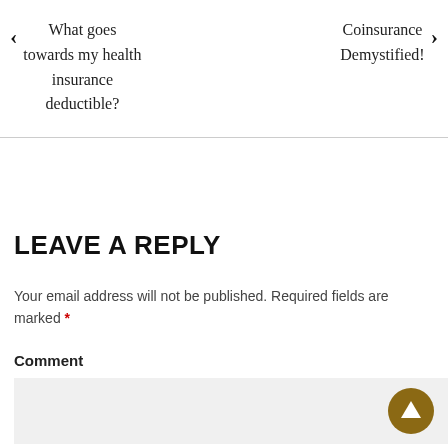← What goes towards my health insurance deductible?
Coinsurance Demystified! ›
LEAVE A REPLY
Your email address will not be published. Required fields are marked *
Comment